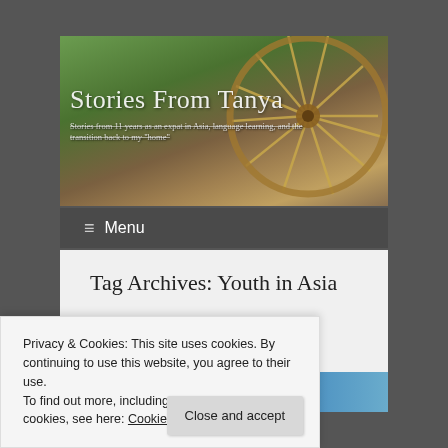[Figure (photo): Blog header image showing a large wooden wagon wheel against a green rice paddy background with stone wall. Website title 'Stories From Tanya' overlaid in white serif text, with subtitle 'Stories from 11 years as an expat in Asia, language learning, and the transition back to my home']
≡ Menu
Tag Archives: Youth in Asia
Privacy & Cookies: This site uses cookies. By continuing to use this website, you agree to their use.
To find out more, including how to control cookies, see here: Cookie Policy
Close and accept